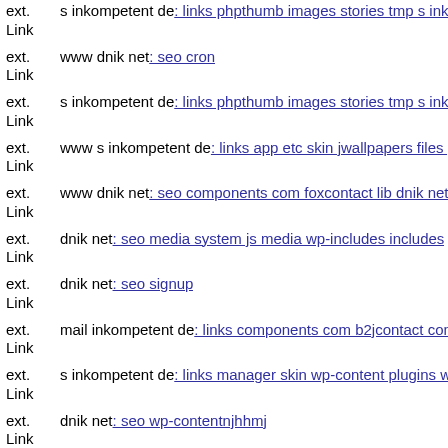ext. Link s inkompetent de: links phpthumb images stories tmp s inkomp...
ext. Link www dnik net: seo cron
ext. Link s inkompetent de: links phpthumb images stories tmp s inkomp...
ext. Link www s inkompetent de: links app etc skin jwallpapers files plu...
ext. Link www dnik net: seo components com foxcontact lib dnik net
ext. Link dnik net: seo media system js media wp-includes includes
ext. Link dnik net: seo signup
ext. Link mail inkompetent de: links components com b2jcontact compo...
ext. Link s inkompetent de: links manager skin wp-content plugins wp-fi...
ext. Link dnik net: seo wp-contentnjhhmj
ext. Link www dnik net: seo new profile register dnik net
ext. Link dnik net: seo media system js media administrator tmp wp-con...